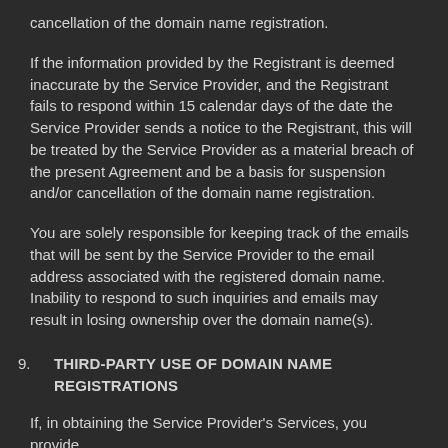cancellation of the domain name registration.
If the information provided by the Registrant is deemed inaccurate by the Service Provider, and the Registrant fails to respond within 15 calendar days of the date the Service Provider sends a notice to the Registrant, this will be treated by the Service Provider as a material breach of the present Agreement and be a basis for suspension and/or cancellation of the domain name registration.
You are solely responsible for keeping track of the emails that will be sent by the Service Provider to the email address associated with the registered domain name. Inability to respond to such inquiries and emails may result in losing ownership over the domain name(s).
9.   THIRD-PARTY USE OF DOMAIN NAME REGISTRATIONS
If, in obtaining the Service Provider's Services, you provide